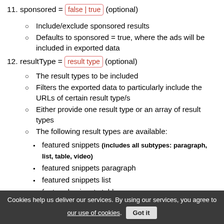11. sponsored = false | true (optional)
Include/exclude sponsored results
Defaults to sponsored = true, where the ads will be included in exported data
12. resultType = result type (optional)
The result types to be included
Filters the exported data to particularly include the URLs of certain result type/s
Either provide one result type or an array of result types
The following result types are available:
featured snippets (includes all subtypes: paragraph, list, table, video)
featured snippets paragraph
featured snippets list
featured snippets table
featured snippets video
sitelinks
Cookies help us deliver our services. By using our services, you agree to our use of cookies. Got it